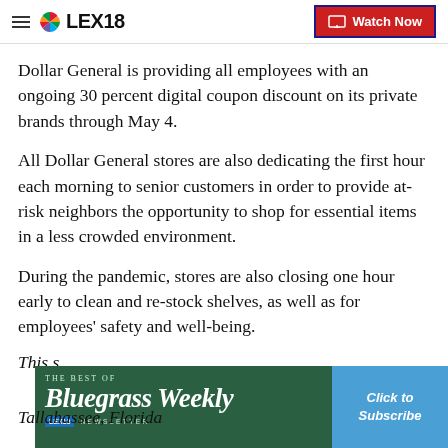LEX18 | Watch Now
Dollar General is providing all employees with an ongoing 30 percent digital coupon discount on its private brands through May 4.
All Dollar General stores are also dedicating the first hour each morning to senior customers in order to provide at-risk neighbors the opportunity to shop for essential items in a less crowded environment.
During the pandemic, stores are also closing one hour early to clean and re-stock shelves, as well as for employees' safety and well-being.
This s... Tallahassee, Florida
[Figure (other): Bluegrass Weekly Newsletter advertisement banner with Click to Subscribe button]